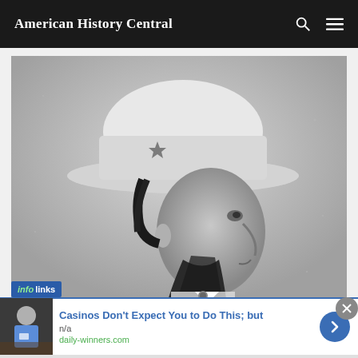American History Central
[Figure (photo): Black and white historical portrait photograph of a bearded man wearing a wide-brimmed cowboy-style hat with a star emblem, shown in profile facing right, dressed in 19th century clothing.]
infolinks
Casinos Don't Expect You to Do This; but
n/a
daily-winners.com